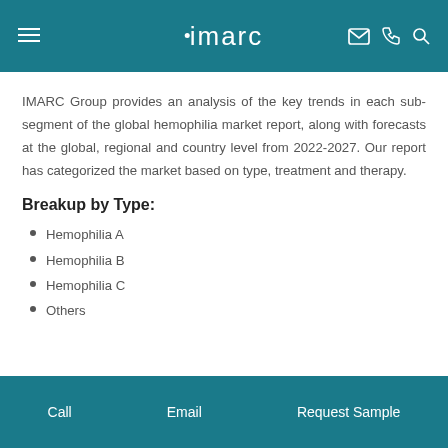imarc
IMARC Group provides an analysis of the key trends in each sub-segment of the global hemophilia market report, along with forecasts at the global, regional and country level from 2022-2027. Our report has categorized the market based on type, treatment and therapy.
Breakup by Type:
Hemophilia A
Hemophilia B
Hemophilia C
Others
Call  Email  Request Sample